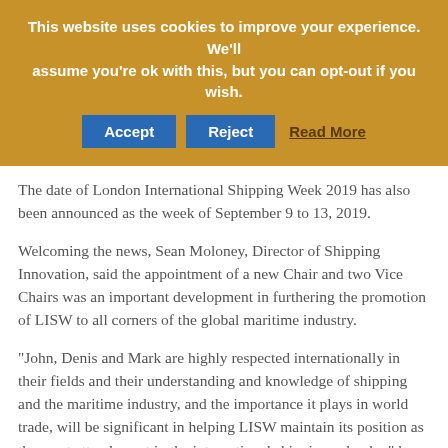[Figure (screenshot): Cookie consent banner with golden/amber background, white bold text, two blue buttons (Accept, Reject), and a bold brown 'Read More' link]
The date of London International Shipping Week 2019 has also been announced as the week of September 9 to 13, 2019.
Welcoming the news, Sean Moloney, Director of Shipping Innovation, said the appointment of a new Chair and two Vice Chairs was an important development in furthering the promotion of LISW to all corners of the global maritime industry.
"John, Denis and Mark are highly respected internationally in their fields and their understanding and knowledge of shipping and the maritime industry, and the importance it plays in world trade, will be significant in helping LISW maintain its position as the must attend event in the international shipping calendar," he said.
LISW17 exceeded our ambitions with more than 150